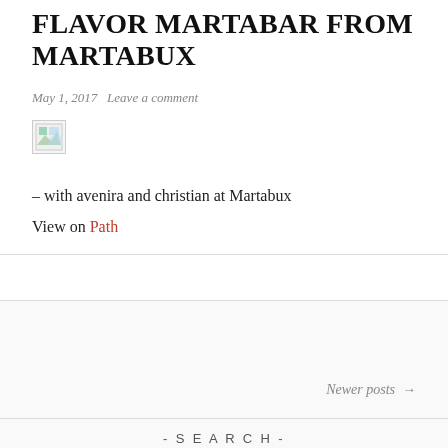FLAVOR MARTABAR FROM MARTABUX
May 1, 2017   Leave a comment
[Figure (photo): Broken/missing image placeholder icon]
– with avenira and christian at Martabux
View on Path
Newer posts →
- SEARCH -